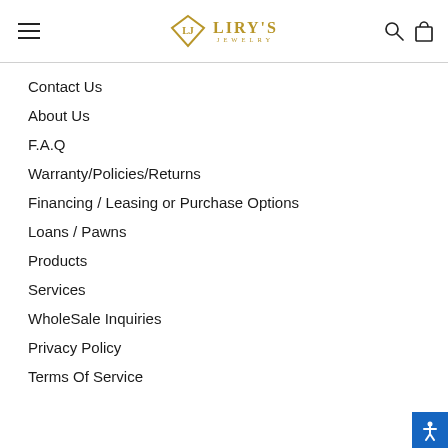Liry's Jewelry
Contact Us
About Us
F.A.Q
Warranty/Policies/Returns
Financing / Leasing or Purchase Options
Loans / Pawns
Products
Services
WholeSale Inquiries
Privacy Policy
Terms Of Service